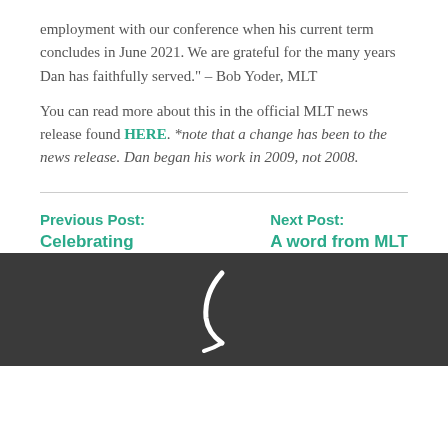employment with our conference when his current term concludes in June 2021. We are grateful for the many years Dan has faithfully served." – Bob Yoder, MLT
You can read more about this in the official MLT news release found HERE. *note that a change has been to the news release. Dan began his work in 2009, not 2008.
Previous Post: Celebrating
Next Post: A word from MLT
[Figure (logo): White decorative logo/icon on dark gray footer background]